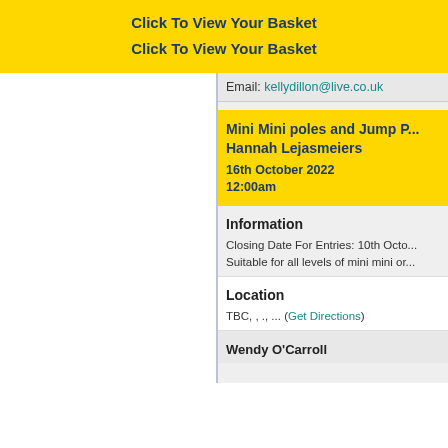Click To View Your Basket
Click To View Your Basket
Email: kellydillon@live.co.uk
Mini Mini poles and Jump P... Hannah Lejasmeiers
16th October 2022
12:00am
Information
Closing Date For Entries: 10th Octo...
Suitable for all levels of mini mini or...
Location
TBC, , ., ... (Get Directions)
Wendy O'Carroll